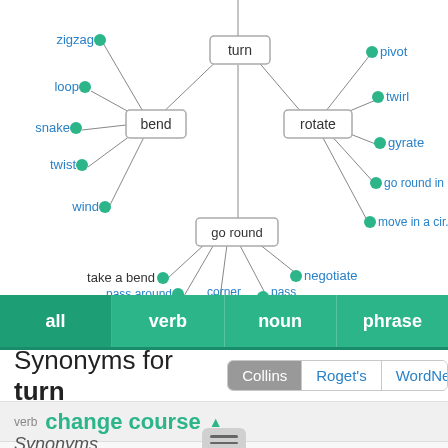[Figure (network-graph): Word network diagram showing synonyms for 'turn'. Central node 'turn' connects to 'bend' (left) and 'rotate' (right) and 'go round' (below). 'bend' connects to zigzag, loop, snake, twist, wind. 'rotate' connects to pivot, twirl, gyrate, go round in c..., move in a cir.... 'go round' connects to take a bend, pass around, corner, pass, negotiate.]
all  verb  noun  phrase
Synonyms for turn
Collins  Roget's  WordNet
verb change course ▲
Synonyms